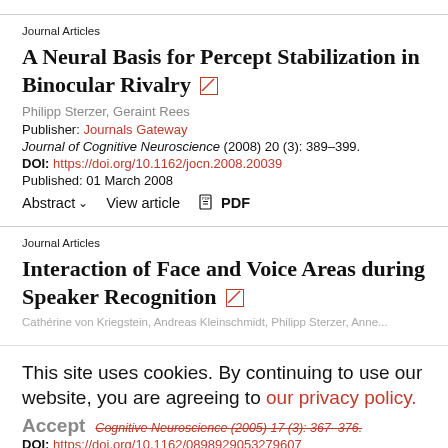Journal Articles
A Neural Basis for Percept Stabilization in Binocular Rivalry
Philipp Sterzer, Geraint Rees
Publisher: Journals Gateway
Journal of Cognitive Neuroscience (2008) 20 (3): 389–399.
DOI: https://doi.org/10.1162/jocn.2008.20039
Published: 01 March 2008
Abstract   View article   PDF
Journal Articles
Interaction of Face and Voice Areas during Speaker Recognition
This site uses cookies. By continuing to use our website, you are agreeing to our privacy policy. Accept
DOI: